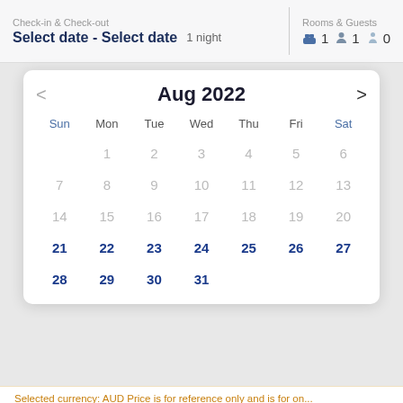Check-in & Check-out | Select date - Select date | 1 night | Rooms & Guests | 1 | 1 | 0
[Figure (other): A hotel booking calendar widget showing August 2022. Days 1-20 are grayed out (past/unavailable), days 21-31 are shown in blue (available). Days of week headers: Sun, Mon, Tue, Wed, Thu, Fri, Sat.]
Selected currency: AUD Price is for reference only and is for on...